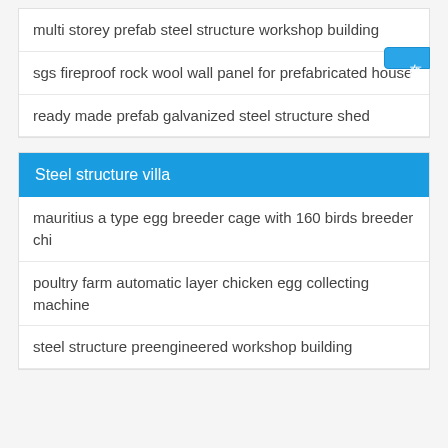multi storey prefab steel structure workshop building
sgs fireproof rock wool wall panel for prefabricated house
ready made prefab galvanized steel structure shed
Steel structure villa
mauritius a type egg breeder cage with 160 birds breeder chi
poultry farm automatic layer chicken egg collecting machine
steel structure preengineered workshop building